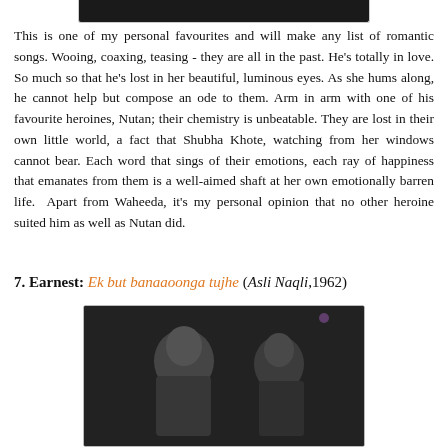[Figure (photo): Bottom portion of a black and white film still image, partially cropped at top]
This is one of my personal favourites and will make any list of romantic songs. Wooing, coaxing, teasing - they are all in the past. He's totally in love. So much so that he's lost in her beautiful, luminous eyes. As she hums along, he cannot help but compose an ode to them. Arm in arm with one of his favourite heroines, Nutan; their chemistry is unbeatable. They are lost in their own little world, a fact that Shubha Khote, watching from her windows cannot bear. Each word that sings of their emotions, each ray of happiness that emanates from them is a well-aimed shaft at her own emotionally barren life.  Apart from Waheeda, it's my personal opinion that no other heroine suited him as well as Nutan did.
7. Earnest: Ek but banaaoonga tujhe (Asli Naqli,1962)
[Figure (photo): Black and white still from Asli Naqli (1962) showing a man and a woman in a scene]